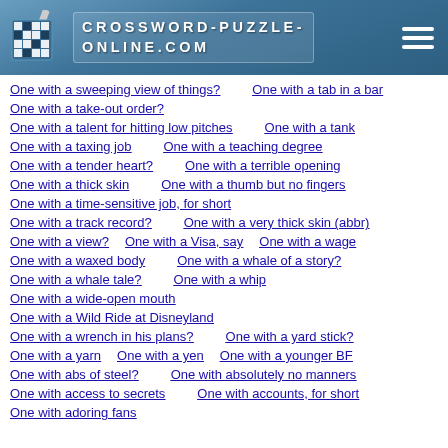CROSSWORD-PUZZLE-ONLINE.COM
One with a sweeping view of things?
One with a tab in a bar
One with a take-out order?
One with a talent for hitting low pitches
One with a tank
One with a taxing job
One with a teaching degree
One with a tender heart?
One with a terrible opening
One with a thick skin
One with a thumb but no fingers
One with a time-sensitive job, for short
One with a track record?
One with a very thick skin (abbr)
One with a view?
One with a Visa, say
One with a wage
One with a waxed body
One with a whale of a story?
One with a whale tale?
One with a whip
One with a wide-open mouth
One with a Wild Ride at Disneyland
One with a wrench in his plans?
One with a yard stick?
One with a yarn
One with a yen
One with a younger BF
One with abs of steel?
One with absolutely no manners
One with access to secrets
One with accounts, for short
One with adoring fans